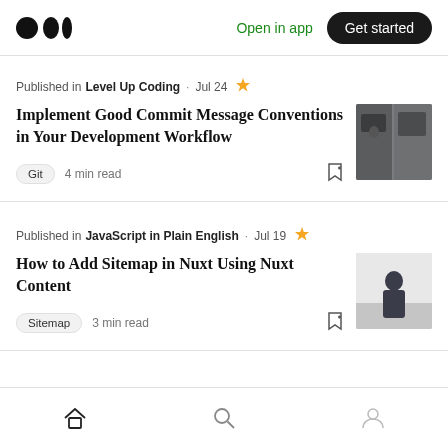Medium logo | Open in app | Get started
Published in Level Up Coding · Jul 24 ★
Implement Good Commit Message Conventions in Your Development Workflow
Git  4 min read
Published in JavaScript in Plain English · Jul 19 ★
How to Add Sitemap in Nuxt Using Nuxt Content
Sitemap  3 min read
Home | Search | Profile